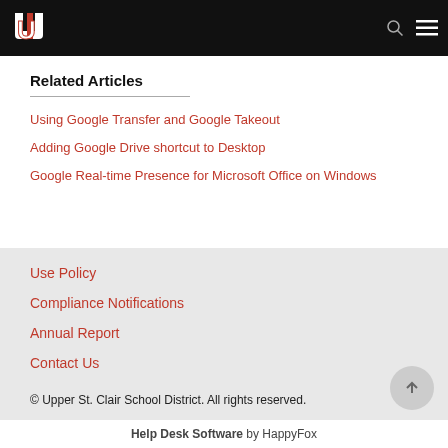Upper St. Clair School District Help Desk
Related Articles
Using Google Transfer and Google Takeout
Adding Google Drive shortcut to Desktop
Google Real-time Presence for Microsoft Office on Windows
Use Policy
Compliance Notifications
Annual Report
Contact Us
© Upper St. Clair School District. All rights reserved.
Help Desk Software by HappyFox